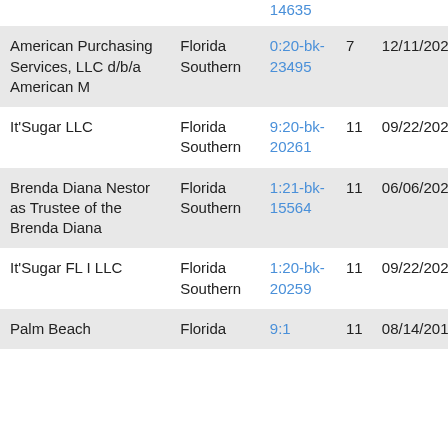| Name | District | Case Number | Chapter | Filed Date |
| --- | --- | --- | --- | --- |
|  |  | 14635 |  |  |
| American Purchasing Services, LLC d/b/a American M | Florida Southern | 0:20-bk-23495 | 7 | 12/11/2020 |
| It'Sugar LLC | Florida Southern | 9:20-bk-20261 | 11 | 09/22/2020 |
| Brenda Diana Nestor as Trustee of the Brenda Diana | Florida Southern | 1:21-bk-15564 | 11 | 06/06/2021 |
| It'Sugar FL I LLC | Florida Southern | 1:20-bk-20259 | 11 | 09/22/2020 |
| Palm Beach... | Florida... | 9:1... | 11 | 08/14/2019... |